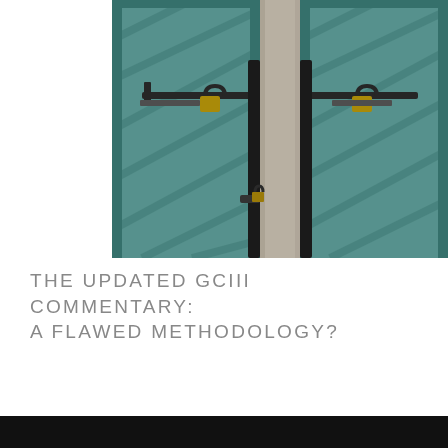[Figure (photo): Close-up photograph of old weathered teal/green metal gates or doors secured with padlocks. A concrete beam or post runs vertically in the center between the two gate panels. Rusty iron bars and hardware with gold/brass padlocks are visible.]
THE UPDATED GCIII COMMENTARY: A FLAWED METHODOLOGY?